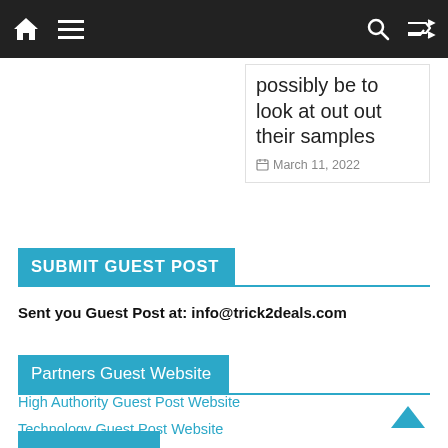Navigation bar with home, menu, search, and shuffle icons
possibly be to look at out out their samples
March 11, 2022
SUBMIT GUEST POST
Sent you Guest Post at: info@trick2deals.com
Partners Guest Website
High Authority Guest Post Website
Technology Guest Post Website